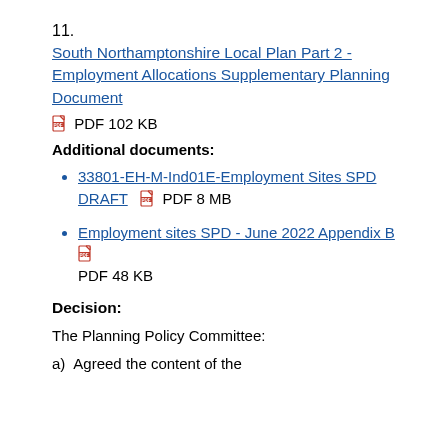11.
South Northamptonshire Local Plan Part 2 - Employment Allocations Supplementary Planning Document  PDF 102 KB
Additional documents:
33801-EH-M-Ind01E-Employment Sites SPD DRAFT  PDF 8 MB
Employment sites SPD - June 2022 Appendix B  PDF 48 KB
Decision:
The Planning Policy Committee:
a)  Agreed the content of the